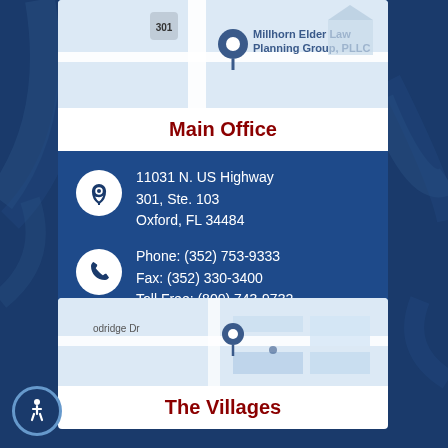[Figure (map): Google Maps thumbnail showing Millhorn Elder Law Planning Group PLLC location near US Highway 301]
Main Office
11031 N. US Highway 301, Ste. 103
Oxford, FL 34484
Phone: (352) 753-9333
Fax: (352) 330-3400
Toll Free: (800) 743-9732
[Figure (map): Google Maps thumbnail showing The Villages office location near Goodridge Drive]
The Villages